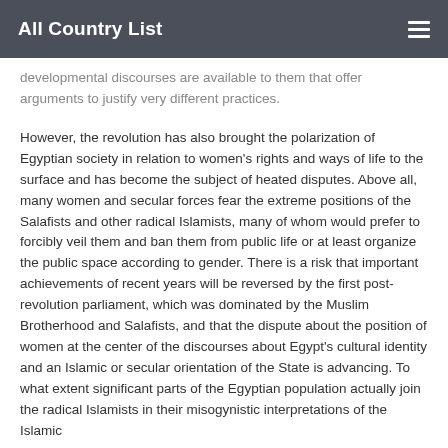All Country List
developmental discourses are available to them that offer arguments to justify very different practices.
However, the revolution has also brought the polarization of Egyptian society in relation to women's rights and ways of life to the surface and has become the subject of heated disputes. Above all, many women and secular forces fear the extreme positions of the Salafists and other radical Islamists, many of whom would prefer to forcibly veil them and ban them from public life or at least organize the public space according to gender. There is a risk that important achievements of recent years will be reversed by the first post-revolution parliament, which was dominated by the Muslim Brotherhood and Salafists, and that the dispute about the position of women at the center of the discourses about Egypt's cultural identity and an Islamic or secular orientation of the State is advancing. To what extent significant parts of the Egyptian population actually join the radical Islamists in their misogynistic interpretations of the Islamic